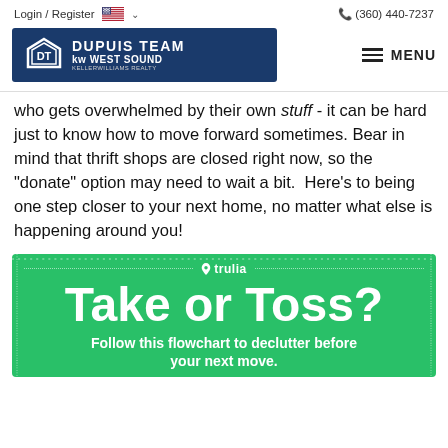Login / Register  (360) 440-7237
[Figure (logo): Dupuis Team KW West Sound Keller Williams Realty logo on dark blue background, with hamburger menu icon and MENU text]
who gets overwhelmed by their own stuff - it can be hard just to know how to move forward sometimes. Bear in mind that thrift shops are closed right now, so the "donate" option may need to wait a bit. Here's to being one step closer to your next home, no matter what else is happening around you!
[Figure (infographic): Trulia branded green infographic panel with text: Take or Toss? Follow this flowchart to declutter before your next move.]